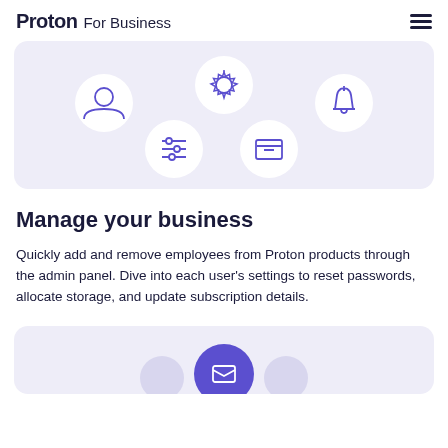Proton For Business
[Figure (illustration): Light purple panel showing five white circular icon buttons: a person/user icon (top left), a gear/settings icon (top center), a bell/notification icon (top right), a sliders/controls icon (bottom center-left), and an archive/box icon (bottom center-right), arranged in a floating layout on a lavender background.]
Manage your business
Quickly add and remove employees from Proton products through the admin panel. Dive into each user's settings to reset passwords, allocate storage, and update subscription details.
[Figure (illustration): Partially visible light purple panel at the bottom showing three circular shapes: two smaller light gray/lavender circles on the sides and one larger purple filled circle in the center, partially cut off at the bottom of the page.]